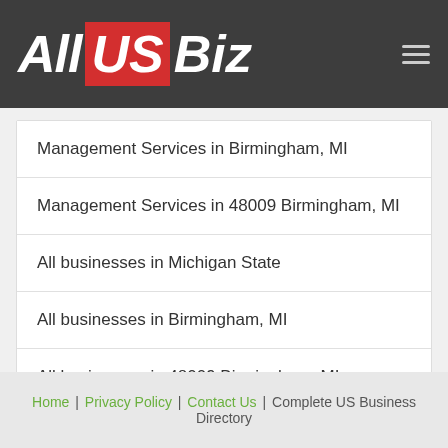All US Biz
Management Services in Birmingham, MI
Management Services in 48009 Birmingham, MI
All businesses in Michigan State
All businesses in Birmingham, MI
All businesses in 48009 Birmingham, MI
Home | Privacy Policy | Contact Us | Complete US Business Directory